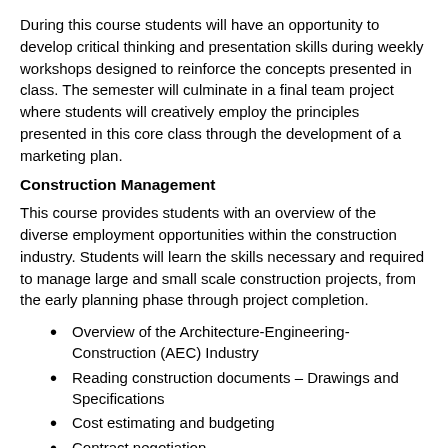During this course students will have an opportunity to develop critical thinking and presentation skills during weekly workshops designed to reinforce the concepts presented in class. The semester will culminate in a final team project where students will creatively employ the principles presented in this core class through the development of a marketing plan.
Construction Management
This course provides students with an overview of the diverse employment opportunities within the construction industry. Students will learn the skills necessary and required to manage large and small scale construction projects, from the early planning phase through project completion.
Overview of the Architecture-Engineering-Construction (AEC) Industry
Reading construction documents – Drawings and Specifications
Cost estimating and budgeting
Contract negotiation
Legal considerations, insurance and risk mitigation
Utilizing Building Information Modeling to map out building elements before on-site building starts
Interfacing with Designers, Engineers and Local and State building inspectors